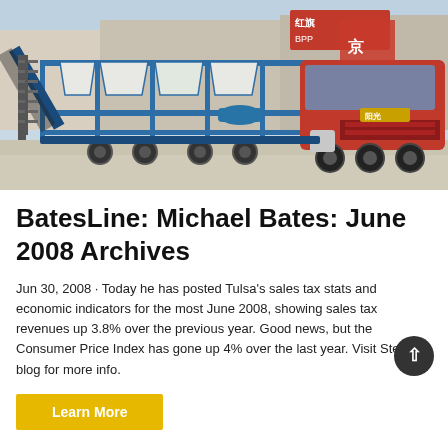[Figure (photo): Industrial mobile concrete batching plant on a truck/trailer, blue metal framework with hoppers and conveyors, parked in a yard with red Chinese signage visible in background. Red heavy truck cab on the right side.]
BatesLine: Michael Bates: June 2008 Archives
Jun 30, 2008 · Today he has posted Tulsa's sales tax stats and economic indicators for the most June 2008, showing sales tax revenues up 3.8% over the previous year. Good news, but the Consumer Price Index has gone up 4% over the last year. Visit Steve's blog for more info.
Learn More